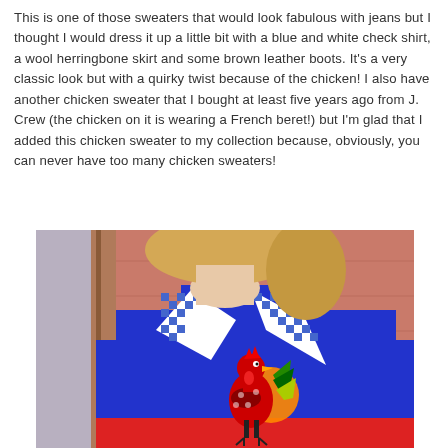This is one of those sweaters that would look fabulous with jeans but I thought I would dress it up a little bit with a blue and white check shirt, a wool herringbone skirt and some brown leather boots. It's a very classic look but with a quirky twist because of the chicken! I also have another chicken sweater that I bought at least five years ago from J. Crew (the chicken on it is wearing a French beret!) but I'm glad that I added this chicken sweater to my collection because, obviously, you can never have too many chicken sweaters!
[Figure (photo): Close-up photo of a person wearing a bright blue sweater with a colourful rooster/chicken graphic on it, layered over a blue and white gingham check shirt collar visible at the neckline. The background shows a red/brown wall and some wooden elements.]